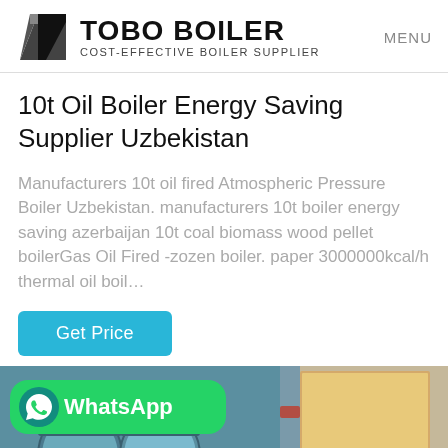TOBO BOILER COST-EFFECTIVE BOILER SUPPLIER | MENU
10t Oil Boiler Energy Saving Supplier Uzbekistan
Manufacturers 10t oil fired Atmospheric Pressure Boiler Uzbekistan. manufacturers 10t boiler energy saving azerbaijan 10t coal biomass wood pellet boilerGas Oil Fired -zozen boiler. paper 3000000kcal/h thermal oil boil…
Get Price
[Figure (screenshot): WhatsApp badge overlay on product photo showing industrial boilers and a door panel. Green WhatsApp button with phone icon and 'WhatsApp' text on the left, photo of cylindrical boilers with PARCGUAN branding and a door on the right.]